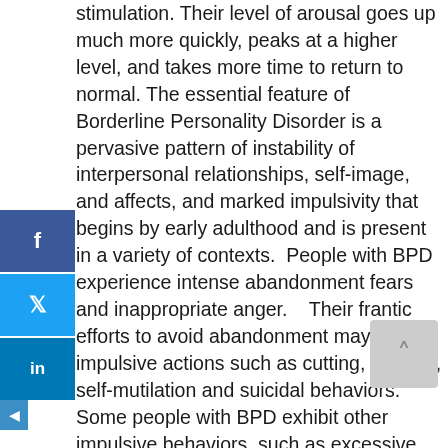stimulation. Their level of arousal goes up much more quickly, peaks at a higher level, and takes more time to return to normal. The essential feature of Borderline Personality Disorder is a pervasive pattern of instability of interpersonal relationships, self-image, and affects, and marked impulsivity that begins by early adulthood and is present in a variety of contexts. People with BPD experience intense abandonment fears and inappropriate anger. Their frantic efforts to avoid abandonment may include impulsive actions such as cutting, burning, self-mutilation and suicidal behaviors. Some people with BPD exhibit other impulsive behaviors, such as excessive spending, binge eating and risky sex. BPD often occurs together with other psychiatric problems, particularly bipolar disorder, depression, anxiety disorders, substance abuse, and other personality disorders
Dialectical Behavioral Therapy (DBT) is the gold